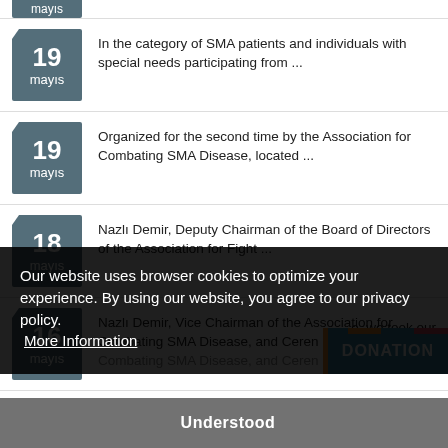19 mayıs — In the category of SMA patients and individuals with special needs participating from ...
19 mayıs — Organized for the second time by the Association for Combating SMA Disease, located ...
18 mayıs — Nazlı Demir, Deputy Chairman of the Board of Directors of the Association for Fight ...
16 mayıs — Nazlı Demir, Vice Chairman of the Association for Combating SMA Disease, and Ceren ...
Our website uses browser cookies to optimize your experience. By using our website, you agree to our privacy policy. More Information
Understood